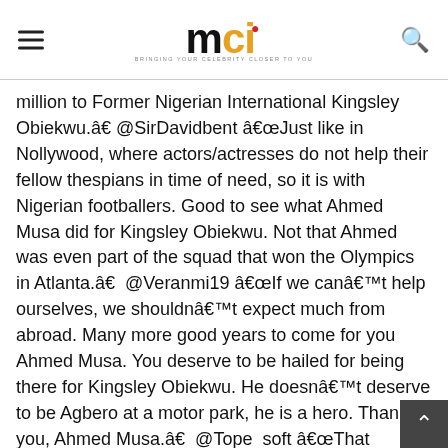mci - Bringing your celebrity closer to you
million to Former Nigerian International Kingsley Obiekwu.â€ @SirDavidbent â€œJust like in Nollywood, where actors/actresses do not help their fellow thespians in time of need, so it is with Nigerian footballers. Good to see what Ahmed Musa did for Kingsley Obiekwu. Not that Ahmed was even part of the squad that won the Olympics in Atlanta.â€  @Veranmi19 â€œIf we canâ€™t help ourselves, we shouldnâ€™t expect much from abroad. Many more good years to come for you Ahmed Musa. You deserve to be hailed for being there for Kingsley Obiekwu. He doesnâ€™t deserve to be Agbero at a motor park, he is a hero. Thank you, Ahmed Musa.â€  @Tope_soft â€œThat Kingsley Obiekwu story says much about how difficult and unfair life is.You can achieve success at some point but if you donâ€™t keep succeeding, itâ€™s hard to stay at the top.. Succeeding consistently is the hardest part of life!â€  @DejiAdesogan